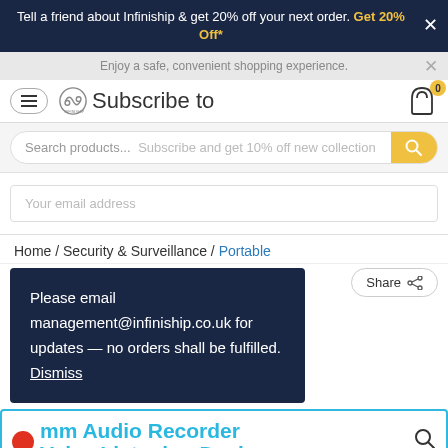Tell a friend about Infiniship & get 20% off your next order. Get 20% Off*
Enjoy a safe, convenient shopping experience.
Subscribe to
Search products...   Subscribe and get 10% off new collection
Your email address
Home / Security & Surveillance / Portable
Share
Please email management@infiniship.co.uk for updates — no orders shall be fulfilled. Dismiss
mm Audio Recorder Voice Listening Device